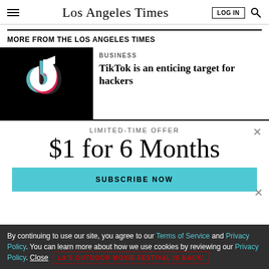Los Angeles Times
MORE FROM THE LOS ANGELES TIMES
[Figure (photo): TikTok app logo on black background]
BUSINESS
TikTok is an enticing target for hackers
LIMITED-TIME OFFER
$1 for 6 Months
SUBSCRIBE NOW
By continuing to use our site, you agree to our Terms of Service and Privacy Policy. You can learn more about how we use cookies by reviewing our Privacy Policy. Close
LA'S OUTDOOR MOVIE FESTIVAL IS BACK!